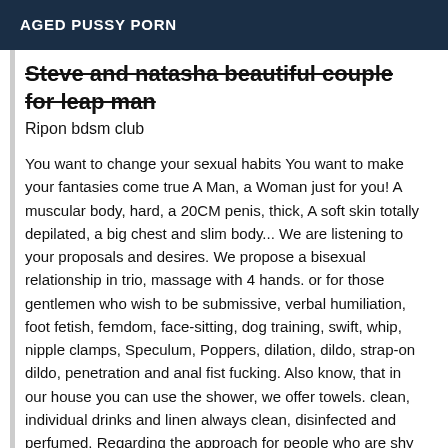AGED PUSSY PORN
Steve and natasha beautiful couple for leap man
Ripon bdsm club
You want to change your sexual habits You want to make your fantasies come true A Man, a Woman just for you! A muscular body, hard, a 20CM penis, thick, A soft skin totally depilated, a big chest and slim body... We are listening to your proposals and desires. We propose a bisexual relationship in trio, massage with 4 hands. or for those gentlemen who wish to be submissive, verbal humiliation, foot fetish, femdom, face-sitting, dog training, swift, whip, nipple clamps, Speculum, Poppers, dilation, dildo, strap-on dildo, penetration and anal fist fucking. Also know, that in our house you can use the shower, we offer towels. clean, individual drinks and linen always clean, disinfected and perfumed. Regarding the approach for people who are shy or whose